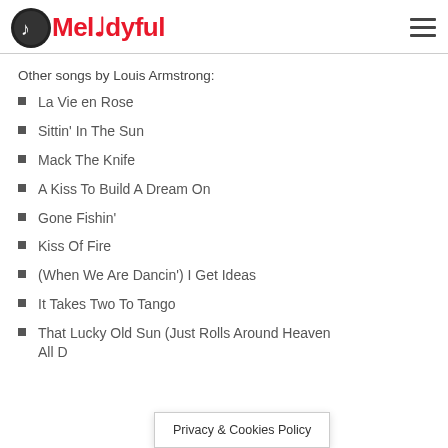Melodyful
Other songs by Louis Armstrong:
La Vie en Rose
Sittin' In The Sun
Mack The Knife
A Kiss To Build A Dream On
Gone Fishin'
Kiss Of Fire
(When We Are Dancin') I Get Ideas
It Takes Two To Tango
That Lucky Old Sun (Just Rolls Around Heaven All D…
Privacy & Cookies Policy